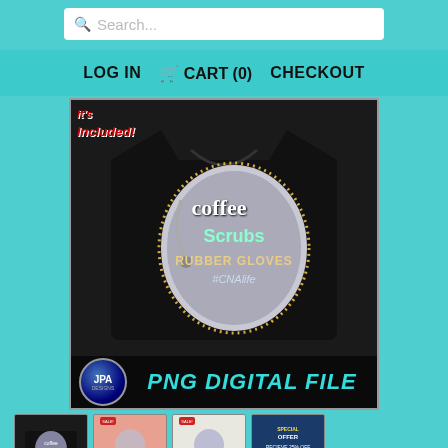[Figure (screenshot): E-commerce website screenshot showing a search bar at top, navigation bar with LOG IN, CART (0), CHECKOUT links, a main product image of a black t-shirt with 'Coffee Scrubs Rubber Gloves #CNAlife' oval design and JPA Designs PNG Digital File branding, and thumbnail product images below]
Search...
LOG IN  🛒 CART (0)  CHECKOUT
PNG DIGITAL FILE
Coffee
Scrubs
RUBBER GLOVES
#CNAlife